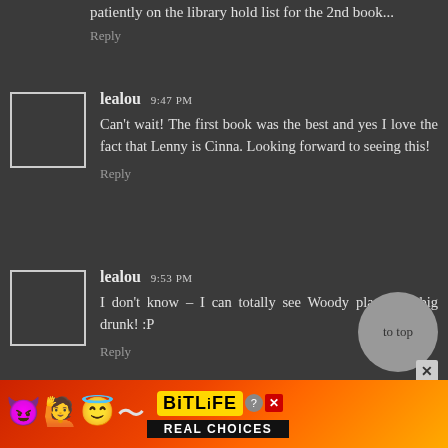patiently on the library hold list for the 2nd book...
Reply
lealou 9:47 PM
Can't wait! The first book was the best and yes I love the fact that Lenny is Cinna. Looking forward to seeing this!
Reply
lealou 9:53 PM
I don't know – I can totally see Woody playing a big drunk! :P
Reply
[Figure (screenshot): Advertisement banner for BitLife mobile game with emojis, logo, and 'REAL CHOICES' text on colorful background]